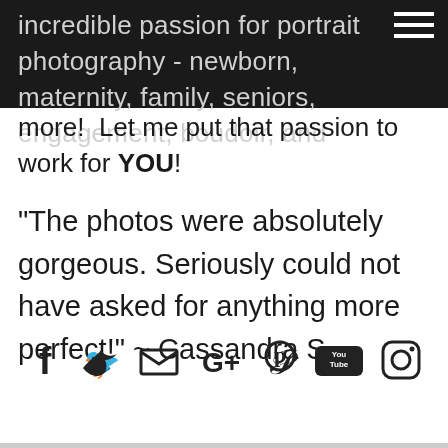incredible passion for portrait photography - newborn, maternity, family, seniors, engagement, boudoir, and more! Let me put that passion to work for YOU!
"The photos were absolutely gorgeous. Seriously could not have asked for anything more perfect!" ~ Cassandra S.
[Figure (infographic): Social media icons row: Facebook, Twitter, Email, Google+, Pinterest, YouTube, Instagram]